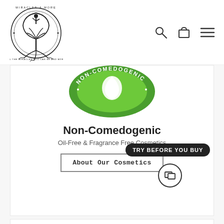[Figure (logo): Miracles & More circular logo with tree of life and text 'All the miracles you can be and more']
[Figure (illustration): Green circular non-comedogenic badge/seal with white droplet icon and text 'NON-COMEDOGENIC' around the border]
Non-Comedogenic
Oil-Free & Fragrance Free Cosmetics
About Our Cosmetics
TRY BEFORE YOU BUY